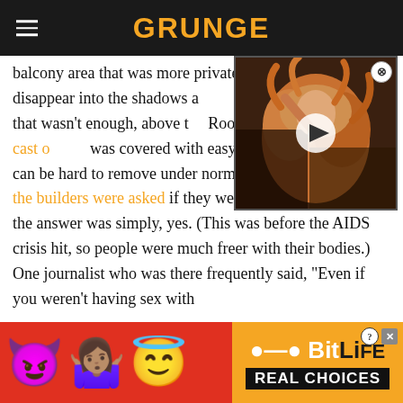GRUNGE
balcony area that was more private. There, you could disappear into the shadows and... if that wasn't enough, above the... Room." A favorite of the cast... was covered with easy-to-clean... and coke dust can be hard to remove under normal circumstances. When the builders were asked if they were making a "sex pit," the answer was simply, yes. (This was before the AIDS crisis hit, so people were much freer with their bodies.) One journalist who was there frequently said, "Even if you weren't having sex with
[Figure (photo): Video thumbnail showing a person with long curly red/orange hair in a dark setting, with a white play button overlay]
[Figure (other): BitLife advertisement banner with emoji characters (devil, person shrugging, angel/halo face), red background, orange BitLife logo, and REAL CHOICES text on black background]